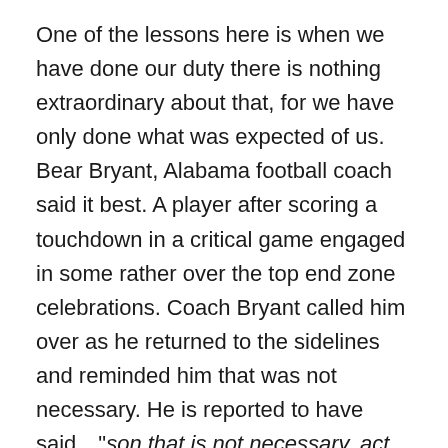One of the lessons here is when we have done our duty there is nothing extraordinary about that, for we have only done what was expected of us. Bear Bryant, Alabama football coach said it best. A player after scoring a touchdown in a critical game engaged in some rather over the top end zone celebrations. Coach Bryant called him over as he returned to the sidelines and reminded him that was not necessary. He is reported to have said…"son that is not necessary, act like you've been there before."  When we do as God would have us do we have only done what is expected of us. We are after all always and forever servants. The Jews believed that those who had done a sufficient number of good works were justified and they were the righteous. There were two other levels but to be noted here was the belief that those in the lower levels could pass into the ranks of the righteous by doing some